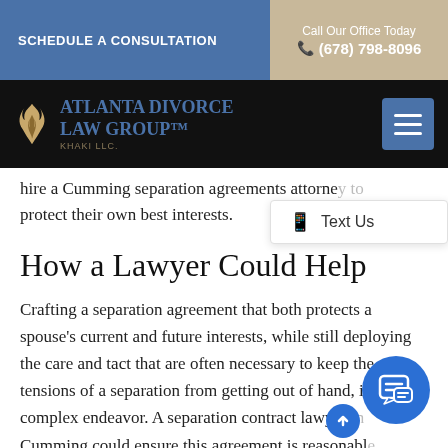SCHEDULE A CONSULTATION
Call Our Office Today (678) 798-8096
[Figure (logo): Atlanta Divorce Law Group Khaki LLC logo with flame icon]
hire a Cumming separation agreements attorney to protect their own best interests.
How a Lawyer Could Help
Crafting a separation agreement that both protects a spouse's current and future interests, while still deploying the care and tact that are often necessary to keep the tensions of a separation from getting out of hand, is a complex endeavor. A separation contract lawyer in Cumming could ensure this agreement is reasonable to the point that the